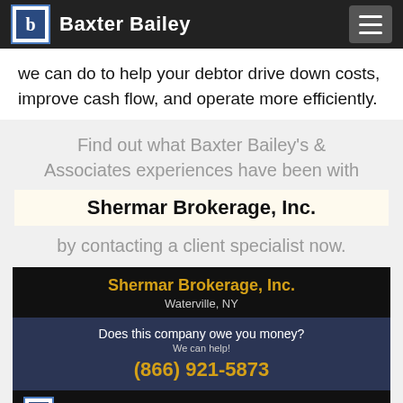Baxter Bailey
we can do to help your debtor drive down costs, improve cash flow, and operate more efficiently.
Find out what Baxter Bailey's & Associates experiences have been with Shermar Brokerage, Inc. by contacting a client specialist now.
Shermar Brokerage, Inc.
Waterville, NY
Does this company owe you money?
We can help!
(866) 921-5873
Baxter Bailey  Learn more